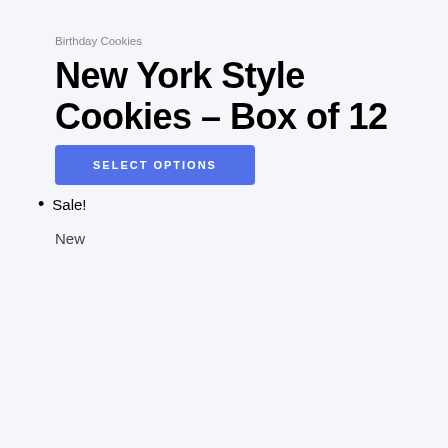Birthday Cookies
New York Style Cookies – Box of 12
SELECT OPTIONS
Sale!
New